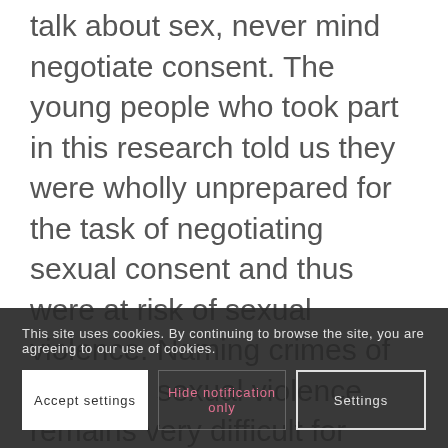talk about sex, never mind negotiate consent. The young people who took part in this research told us they were wholly unprepared for the task of negotiating sexual consent and thus were at risk of sexual violence. Naming crimes of rape and sexual violence remains very difficult for young people, other than in a far too narrow, uninformed manner. Growing up in a binge drinking culture for young Irish people means that reporting crimes and concerns to the appropriate authorities is rarely seen as an option, leaving young sex [trauma.] [remaining text cut off]
This site uses cookies. By continuing to browse the site, you are agreeing to our use of cookies.